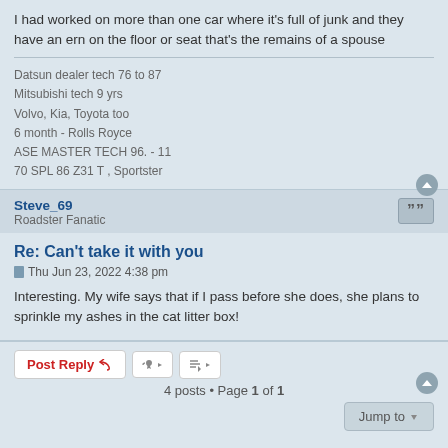I had worked on more than one car where it's full of junk and they have an ern on the floor or seat that's the remains of a spouse
Datsun dealer tech 76 to 87
Mitsubishi tech 9 yrs
Volvo, Kia, Toyota too
6 month - Rolls Royce
ASE MASTER TECH 96. - 11
70 SPL 86 Z31 T , Sportster
Steve_69
Roadster Fanatic
Re: Can't take it with you
Thu Jun 23, 2022 4:38 pm
Interesting. My wife says that if I pass before she does, she plans to sprinkle my ashes in the cat litter box!
Post Reply
4 posts • Page 1 of 1
Jump to